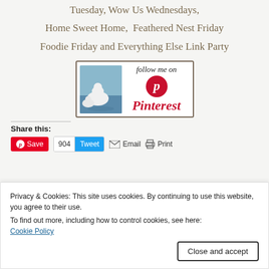Tuesday, Wow Us Wednesdays,
Home Sweet Home,  Feathered Nest Friday
Foodie Friday and Everything Else Link Party
[Figure (other): Follow me on Pinterest badge with polar bear image on left and Pinterest logo text on right]
Share this:
Save  904  Tweet  Email  Print
Privacy & Cookies: This site uses cookies. By continuing to use this website, you agree to their use.
To find out more, including how to control cookies, see here:
Cookie Policy
Close and accept